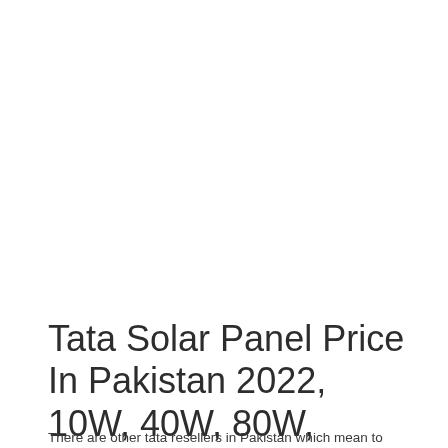Tata Solar Panel Price In Pakistan 2022, 10W, 40W, 80W, 100W
There are other tata resellers in Pakistan which mean to